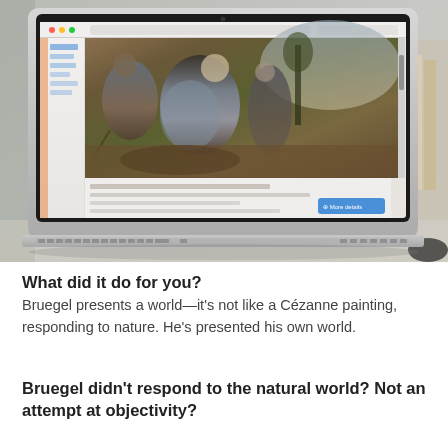[Figure (photo): A MacBook laptop photographed at an angle on a white desk, displaying a web browser with a painting by Bruegel (The Blind Leading the Blind). A 'More details' button is visible on the screen. Keyboard visible in foreground.]
What did it do for you?
Bruegel presents a world—it's not like a Cézanne painting, responding to nature. He's presented his own world.
Bruegel didn't respond to the natural world? Not an attempt at objectivity?